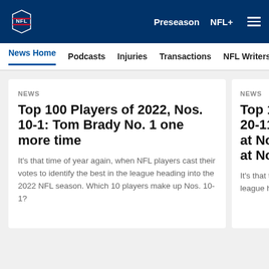NFL | Preseason | NFL+ | menu
News Home | Podcasts | Injuries | Transactions | NFL Writers | Se
NEWS
Top 100 Players of 2022, Nos. 10-1: Tom Brady No. 1 one more time
It's that time of year again, when NFL players cast their votes to identify the best in the league heading into the 2022 NFL season. Which 10 players make up Nos. 10-1?
NEWS
Top 100 P... 20-11: M... at No. 16 at No. 13
It's that time o cast their vote league headin Which 10 pla
[Figure (infographic): Social media share icons: Facebook, Twitter, Email, Link]